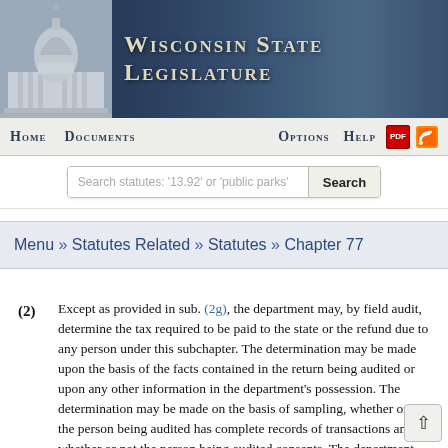Wisconsin State Legislature
Home  Documents  Options  Help
Search statutes: '13.92' or 'public parks'
Menu » Statutes Related » Statutes » Chapter 77
(2) Except as provided in sub. (2g), the department may, by field audit, determine the tax required to be paid to the state or the refund due to any person under this subchapter. The determination may be made upon the basis of the facts contained in the return being audited or upon any other information in the department's possession. The determination may be made on the basis of sampling, whether or not the person being audited has complete records of transactions and whether or not the person being audited consents. The department may examine and inspect the books, records, memoranda and property of any person in order to verify the tax liability of that person or of another person. The department may subpoena any person to give testimony under